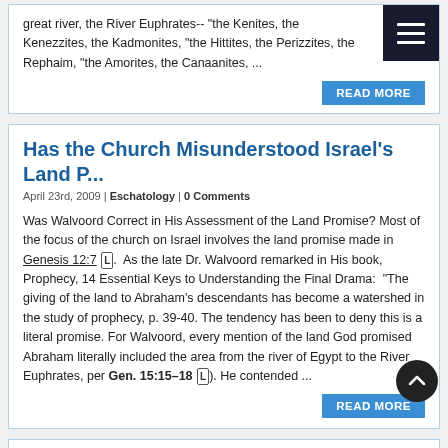great river, the River Euphrates-- "the Kenites, the Kenezzites, the Kadmonites, "the Hittites, the Perizzites, the Rephaim, "the Amorites, the Canaanites, ...
Has the Church Misunderstood Israel's Land P...
April 23rd, 2009 | Eschatology | 0 Comments
Was Walvoord Correct in His Assessment of the Land Promise? Most of the focus of the church on Israel involves the land promise made in Genesis 12:7 [L]. As the late Dr. Walvoord remarked in His book, Prophecy, 14 Essential Keys to Understanding the Final Drama: “The giving of the land to Abraham’s descendants has become a watershed in the study of prophecy, p. 39-40. The tendency has been to deny this is a literal promise. For Walvoord, every mention of the land God promised Abraham literally included the area from the river of Egypt to the River Euphrates, per Gen. 15:15–18 [L]). He contended ...
Eschatology, -Have Heaven and Earth